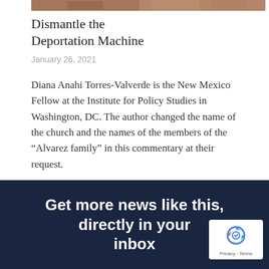[Figure (photo): Cropped photo strip at top of page, showing partial image of people]
Dismantle the Deportation Machine
January 26, 2021
Diana Anahi Torres-Valverde is the New Mexico Fellow at the Institute for Policy Studies in Washington, DC. The author changed the name of the church and the names of the members of the “Alvarez family” in this commentary at their request.
Get more news like this, directly in your inbox